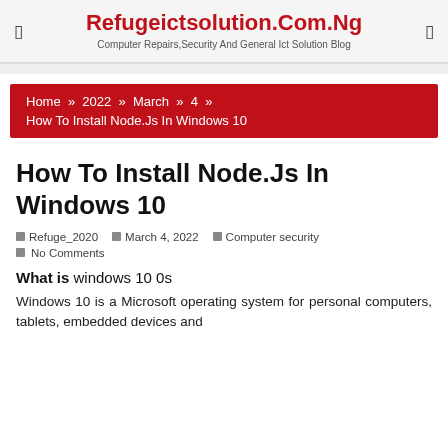Refugeictsolution.Com.Ng
Computer Repairs,Security And General Ict Solution Blog
Home » 2022 » March » 4 »
How To Install Node.Js In Windows 10
How To Install Node.Js In Windows 10
Refuge_2020  March 4, 2022  Computer security
No Comments
What is windows 10 0s
Windows 10 is a Microsoft operating system for personal computers, tablets, embedded devices and